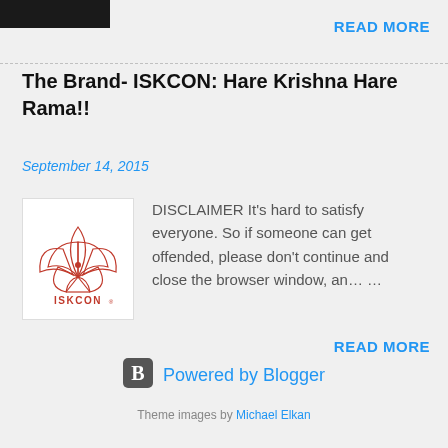[Figure (photo): Dark/black cropped image at top left corner of page]
READ MORE
The Brand- ISKCON: Hare Krishna Hare Rama!!
September 14, 2015
[Figure (logo): ISKCON lotus flower logo with red outline and ISKCON text below]
DISCLAIMER It's hard to satisfy everyone. So if someone can get offended, please don't continue and close the browser window, an… …
READ MORE
Powered by Blogger
Theme images by Michael Elkan